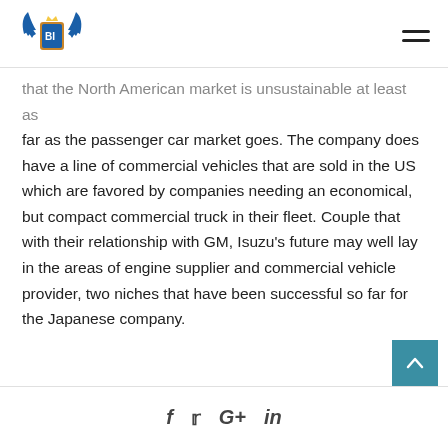Business Insider logo and navigation menu
that the North American market is unsustainable at least as far as the passenger car market goes. The company does have a line of commercial vehicles that are sold in the US which are favored by companies needing an economical, but compact commercial truck in their fleet. Couple that with their relationship with GM, Isuzu's future may well lay in the areas of engine supplier and commercial vehicle provider, two niches that have been successful so far for the Japanese company.
f  t  G+  in